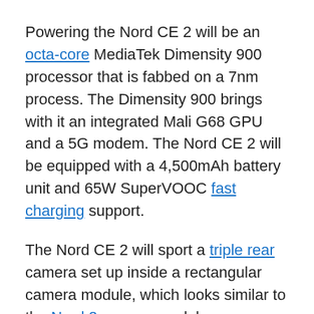Powering the Nord CE 2 will be an octa-core MediaTek Dimensity 900 processor that is fabbed on a 7nm process. The Dimensity 900 brings with it an integrated Mali G68 GPU and a 5G modem. The Nord CE 2 will be equipped with a 4,500mAh battery unit and 65W SuperVOOC fast charging support.
The Nord CE 2 will sport a triple rear camera set up inside a rectangular camera module, which looks similar to the Nord 2 camera module, as revealed in the official teaser. Ishan tells us that the primary shooter on the device will be a 64MP sensor, and will be accompanied by an 8MP ultra-wide-angle lens (119° field of view), and a 2MP sensor. For selfies, the OnePlus will stick to the good old 16MP shooter.